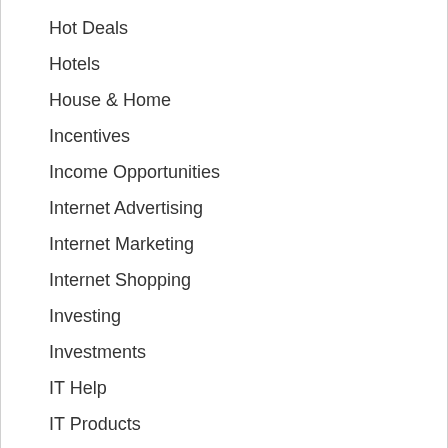Hot Deals
Hotels
House & Home
Incentives
Income Opportunities
Internet Advertising
Internet Marketing
Internet Shopping
Investing
Investments
IT Help
IT Products
IT Services
IT Solutions
IT Suggestions